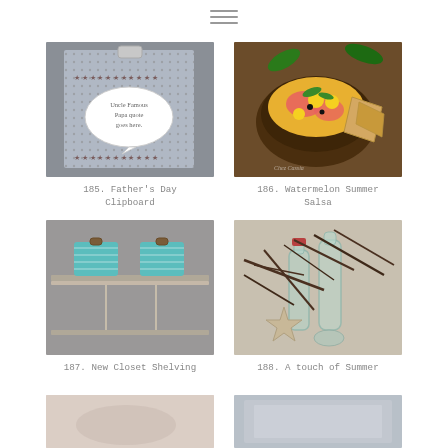navigation menu icon
[Figure (photo): Photo of a decorative clipboard with patterned background and a speech bubble label reading 'Uncle famous Papa quote goes here']
185. Father's Day Clipboard
[Figure (photo): Photo of a wooden bowl filled with watermelon summer salsa topped with corn, tomatoes, and peppers, with tortilla chips alongside]
186. Watermelon Summer Salsa
[Figure (photo): Photo of new closet shelving with teal chevron storage boxes on a metal shelf]
187. New Closet Shelving
[Figure (photo): Photo of a summer beach vignette with glass bottles, driftwood branches, and a starfish]
188. A touch of Summer
[Figure (photo): Partial photo at bottom left, light pinkish tones, partially visible]
[Figure (photo): Partial photo at bottom right, light blue/grey tones, partially visible]